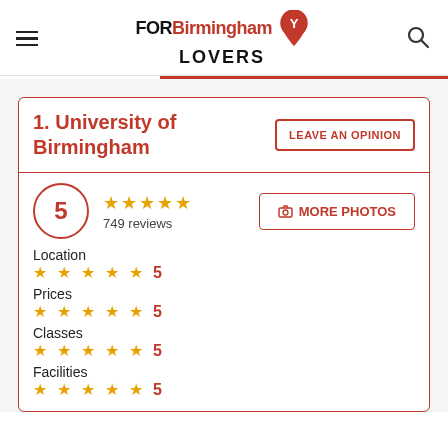FORBirmingham LOVERS
1. University of Birmingham
LEAVE AN OPINION
5 · 749 reviews
MORE PHOTOS
Location 5
Prices 5
Classes 5
Facilities 5